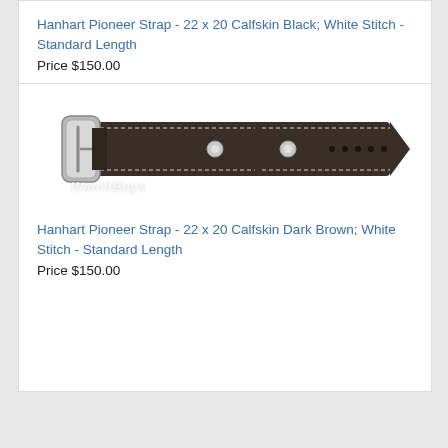Hanhart Pioneer Strap - 22 x 20 Calfskin Black; White Stitch - Standard Length
Price $150.00
[Figure (photo): Dark brown leather watch strap with white stitching, rivet, and holes, shown in two pieces (buckle end and tail end). WatchBuys watermark visible.]
Hanhart Pioneer Strap - 22 x 20 Calfskin Dark Brown; White Stitch - Standard Length
Price $150.00